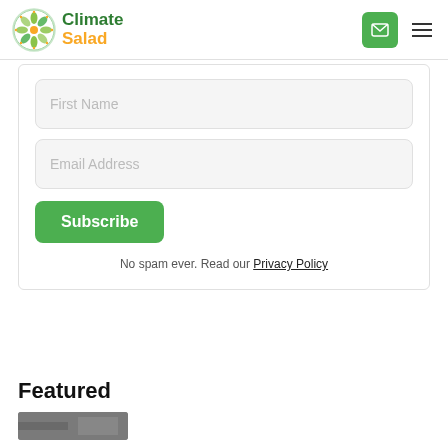[Figure (logo): Climate Salad logo with green circular leaf/flower emblem and text 'Climate' in green and 'Salad' in orange]
First Name
Email Address
Subscribe
No spam ever. Read our Privacy Policy
Featured